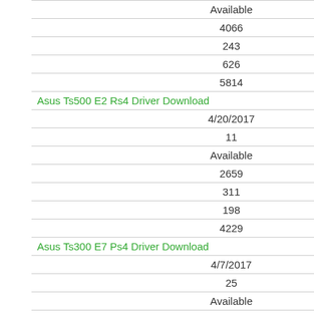| Available |
| 4066 |
| 243 |
| 626 |
| 5814 |
| Asus Ts500 E2 Rs4 Driver Download |
| 4/20/2017 |
| 11 |
| Available |
| 2659 |
| 311 |
| 198 |
| 4229 |
| Asus Ts300 E7 Ps4 Driver Download |
| 4/7/2017 |
| 25 |
| Available |
| 2459 |
| 288 |
| 540 |
| 3699 |